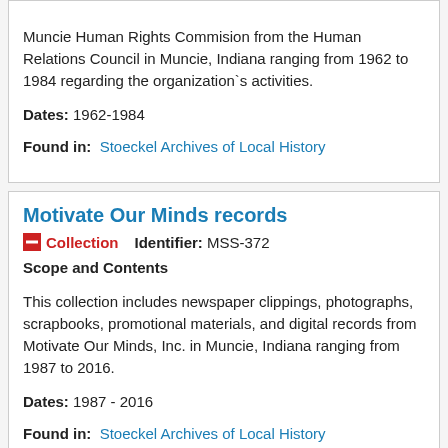Muncie Human Rights Commision from the Human Relations Council in Muncie, Indiana ranging from 1962 to 1984 regarding the organization`s activities.
Dates: 1962-1984
Found in: Stoeckel Archives of Local History
Motivate Our Minds records
Collection   Identifier: MSS-372
Scope and Contents
This collection includes newspaper clippings, photographs, scrapbooks, promotional materials, and digital records from Motivate Our Minds, Inc. in Muncie, Indiana ranging from 1987 to 2016.
Dates: 1987 - 2016
Found in: Stoeckel Archives of Local History
Muncie Art Association records
Collection   Identifier: MSS-130